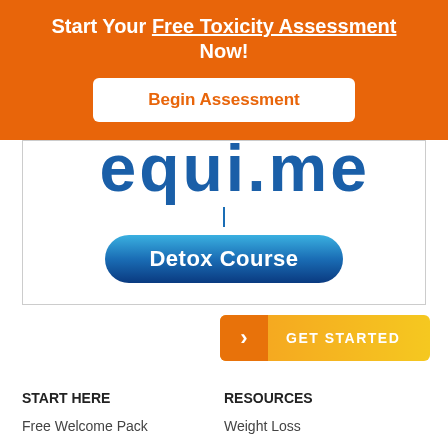Start Your Free Toxicity Assessment Now!
Begin Assessment
[Figure (screenshot): Partial website screenshot showing large blue letters 'equi.me' cut off at top, a vertical blue line, and a blue gradient oval button labeled 'Detox Course']
[Figure (infographic): Orange and yellow gradient 'GET STARTED' button with orange arrow chevron on left side]
START HERE
Free Welcome Pack
Cabral Resource Page
Join the Movement
RESOURCES
Weight Loss
Wellness
Anti-Aging